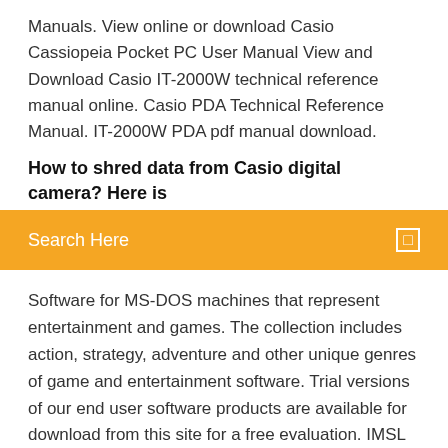Manuals. View online or download Casio Cassiopeia Pocket PC User Manual View and Download Casio IT-2000W technical reference manual online. Casio PDA Technical Reference Manual. IT-2000W PDA pdf manual download.
How to shred data from Casio digital camera? Here is
[Figure (other): Orange search bar with white text 'Search Here' and a small white square icon on the right]
Software for MS-DOS machines that represent entertainment and games. The collection includes action, strategy, adventure and other unique genres of game and entertainment software. Trial versions of our end user software products are available for download from this site for a free evaluation. IMSL Software provides general information on Casio and Sharp electronic organizers on this site as a free service. Buy a cheap Casio link cable, download eActivities, programs and spreadsheets for Casio fx9860 and Classpad 300, subscribe to fxNews, or